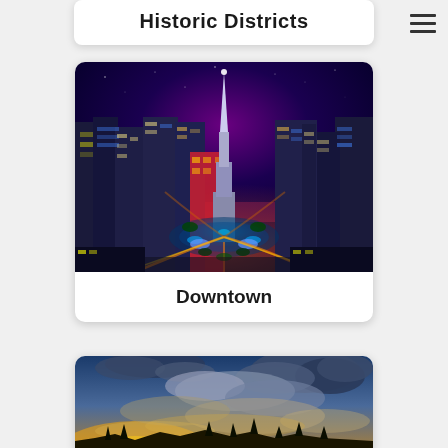Historic Districts
[Figure (photo): Aerial night/dusk photograph of Downtown Indianapolis, showing Monument Circle with Soldiers and Sailors Monument surrounded by illuminated city buildings]
Downtown
[Figure (photo): Outdoor sky photograph with dramatic clouds at sunset/dusk, golden light on horizon]